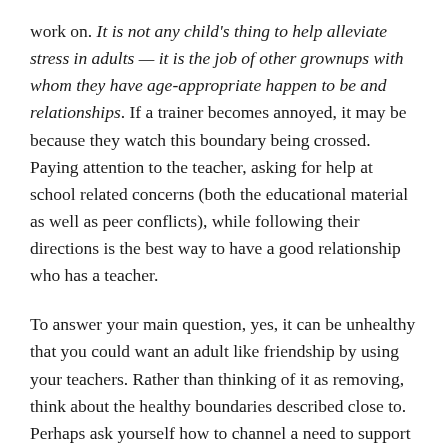work on. It is not any child's thing to help alleviate stress in adults — it is the job of other grownups with whom they have age-appropriate happen to be and relationships. If a trainer becomes annoyed, it may be because they watch this boundary being crossed. Paying attention to the teacher, asking for help at school related concerns (both the educational material as well as peer conflicts), while following their directions is the best way to have a good relationship who has a teacher.
To answer your main question, yes, it can be unhealthy that you could want an adult like friendship by using your teachers. Rather than thinking of it as removing, think about the healthy boundaries described close to. Perhaps ask yourself how to channel a need to support and be friendly inside of your own peer relationships instead of people that have your teachers. Once you start refining putting more energy (with psychologist support if needed) into your same thing age friendships, my guess is that you could possibly get